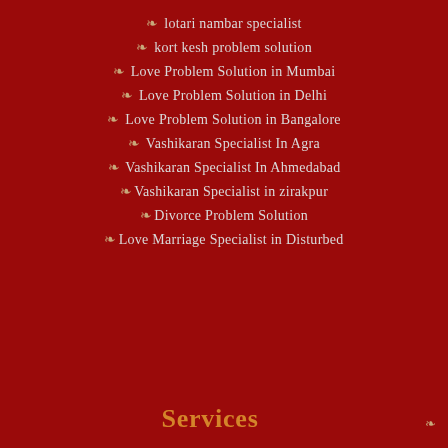❧ lotari nambar specialist
❧ kort kesh problem solution
❧ Love Problem Solution in Mumbai
❧ Love Problem Solution in Delhi
❧ Love Problem Solution in Bangalore
❧ Vashikaran Specialist In Agra
❧ Vashikaran Specialist In Ahmedabad
❧Vashikaran Specialist in zirakpur
❧Divorce Problem Solution
❧Love Marriage Specialist in Disturbed
Services